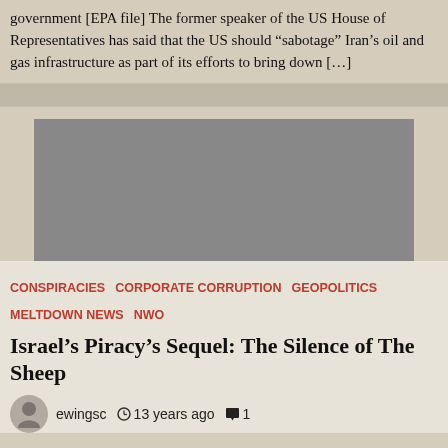government [EPA file] The former speaker of the US House of Representatives has said that the US should “sabotage” Iran’s oil and gas infrastructure as part of its efforts to bring down […]
[Figure (photo): Gray placeholder image rectangle]
Conspiracies   Corporate Corruption   Geopolitics   Meltdown News   NWO
Israel’s Piracy’s Sequel: The Silence of The Sheep
ewingsc   ○ 13 years ago   💬 1